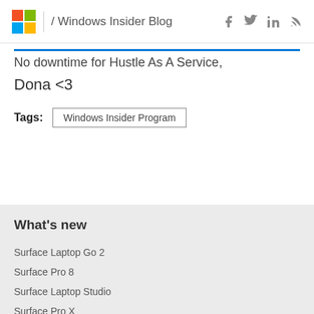/ Windows Insider Blog
No downtime for Hustle As A Service,
Dona <3
Tags: Windows Insider Program
What's new
Surface Laptop Go 2
Surface Pro 8
Surface Laptop Studio
Surface Pro X
Surface Go 3
Surface Duo 2
Surface Pro 7+